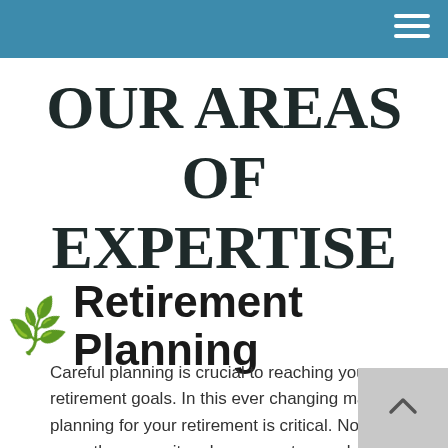OUR AREAS OF EXPERTISE
Retirement Planning
Careful planning is crucial to reaching your retirement goals. In this ever changing market, planning for your retirement is critical. Now more than ever, it makes sense to speak with an